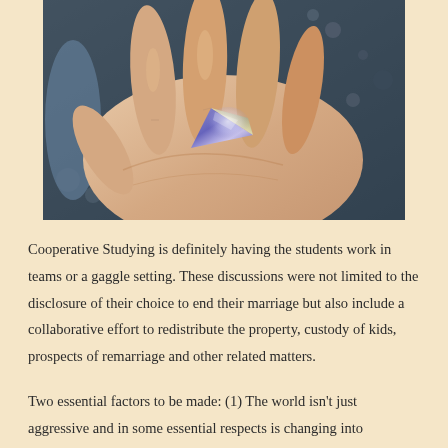[Figure (photo): A close-up photo of a hand holding a purple/blue triangular gemstone or piece of sea glass with a shiny metallic surface, against a blurred background.]
Cooperative Studying is definitely having the students work in teams or a gaggle setting. These discussions were not limited to the disclosure of their choice to end their marriage but also include a collaborative effort to redistribute the property, custody of kids, prospects of remarriage and other related matters.
Two essential factors to be made: (1) The world isn't just aggressive and in some essential respects is changing into